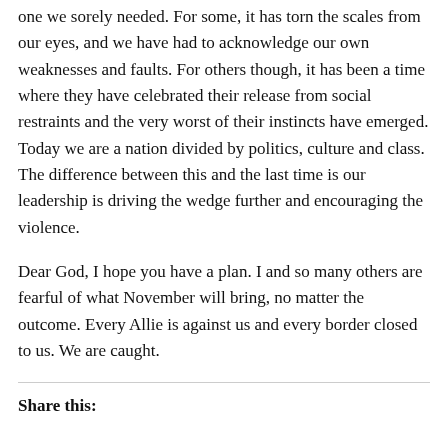one we sorely needed. For some, it has torn the scales from our eyes, and we have had to acknowledge our own weaknesses and faults. For others though, it has been a time where they have celebrated their release from social restraints and the very worst of their instincts have emerged. Today we are a nation divided by politics, culture and class. The difference between this and the last time is our leadership is driving the wedge further and encouraging the violence.
Dear God, I hope you have a plan. I and so many others are fearful of what November will bring, no matter the outcome. Every Allie is against us and every border closed to us. We are caught.
Share this: